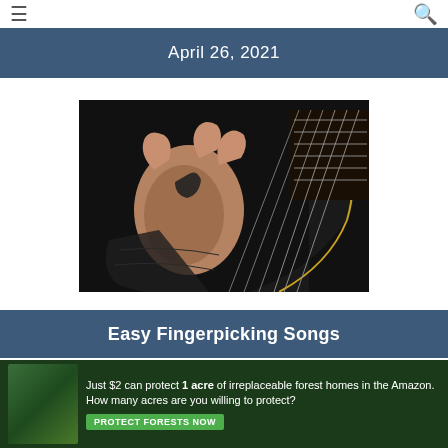≡  🔍
April 26, 2021
[Figure (photo): Close-up photo of hands playing an acoustic guitar, fingerpicking style, dark background]
Easy Fingerpicking Songs
[Figure (photo): Advertisement banner: Just $2 can protect 1 acre of irreplaceable forest homes in the Amazon. How many acres are you willing to protect? PROTECT FORESTS NOW]